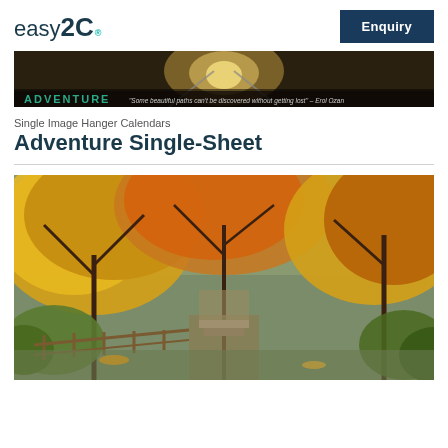easy2C
Enquiry
[Figure (photo): Banner image showing railway tracks disappearing into the distance with text 'ADVENTURE' and quote 'Some beautiful paths can't be discovered without getting lost — Erol Ozan']
Single Image Hanger Calendars
Adventure Single-Sheet
[Figure (photo): Autumn forest scene with yellow and orange foliage trees arching over a pathway with a wooden fence railing, ferns visible in the background]